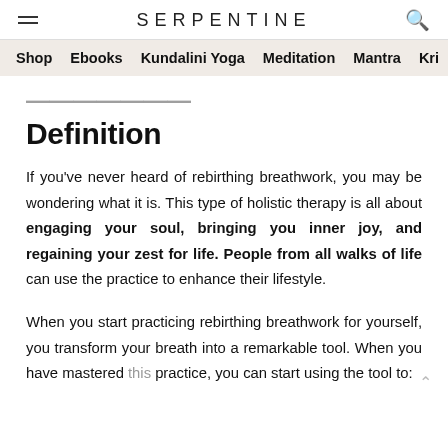SERPENTINE
Shop  Ebooks  Kundalini Yoga  Meditation  Mantra  Kri
Rebirthing Breathwork Definition
If you've never heard of rebirthing breathwork, you may be wondering what it is. This type of holistic therapy is all about engaging your soul, bringing you inner joy, and regaining your zest for life. People from all walks of life can use the practice to enhance their lifestyle.
When you start practicing rebirthing breathwork for yourself, you transform your breath into a remarkable tool. When you have mastered this practice, you can start using the tool to: